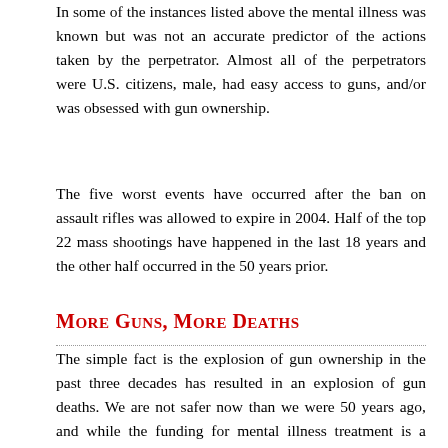In some of the instances listed above the mental illness was known but was not an accurate predictor of the actions taken by the perpetrator. Almost all of the perpetrators were U.S. citizens, male, had easy access to guns, and/or was obsessed with gun ownership.
The five worst events have occurred after the ban on assault rifles was allowed to expire in 2004. Half of the top 22 mass shootings have happened in the last 18 years and the other half occurred in the 50 years prior.
More Guns, More Deaths
The simple fact is the explosion of gun ownership in the past three decades has resulted in an explosion of gun deaths. We are not safer now than we were 50 years ago, and while the funding for mental illness treatment is a factor, if guns